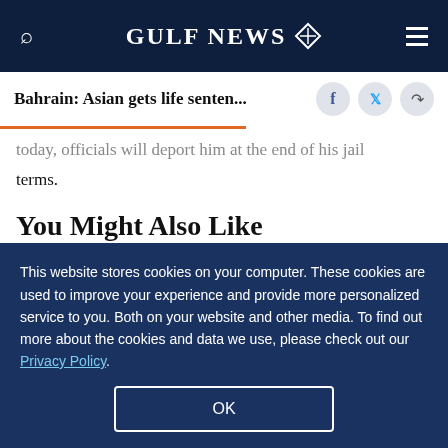GULF NEWS
Bahrain: Asian gets life senten...
...today, officials will deport him at the end of his jail terms.
You Might Also Like
[Figure (photo): Photo of a building with a spire against a blue sky with clouds]
[Figure (photo): Photo of a large parking lot filled with cars, desert landscape in background]
This website stores cookies on your computer. These cookies are used to improve your experience and provide more personalized service to you. Both on your website and other media. To find out more about the cookies and data we use, please check out our Privacy Policy.